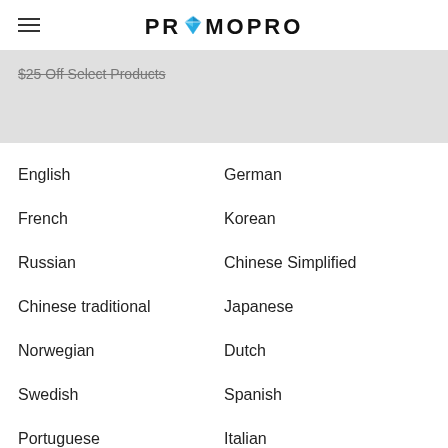PROMOPRO
$25 Off Select Products
English
German
French
Korean
Russian
Chinese Simplified
Chinese traditional
Japanese
Norwegian
Dutch
Swedish
Spanish
Portuguese
Italian
Thai
Cambodian